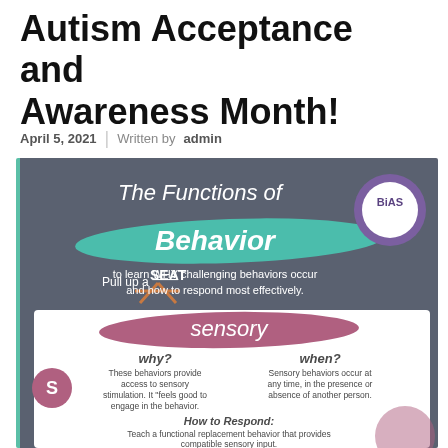Autism Acceptance and Awareness Month!
April 5, 2021 | Written by admin
[Figure (infographic): Infographic titled 'The Functions of Behavior' with BIAS logo. Includes 'SEAT' acronym and a Sensory section explaining why sensory behaviors occur and how to respond.]